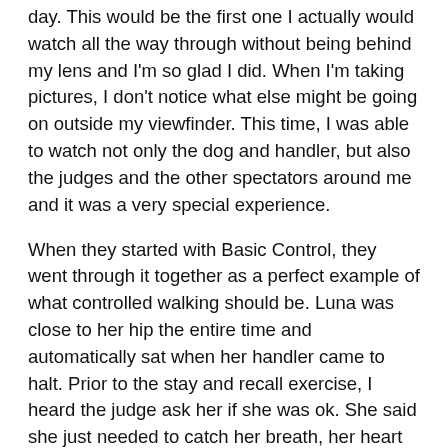day. This would be the first one I actually would watch all the way through without being behind my lens and I'm so glad I did. When I'm taking pictures, I don't notice what else might be going on outside my viewfinder. This time, I was able to watch not only the dog and handler, but also the judges and the other spectators around me and it was a very special experience.
When they started with Basic Control, they went through it together as a perfect example of what controlled walking should be. Luna was close to her hip the entire time and automatically sat when her handler came to halt. Prior to the stay and recall exercise, I heard the judge ask her if she was ok. She said she just needed to catch her breath, her heart was racing. She seemed like a picture of complete control, but was still so nervous!
Single Retrieve was quick and efficient, the first two